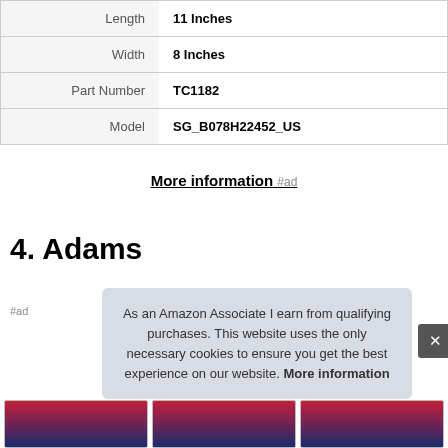| Length | 11 Inches |
| Width | 8 Inches |
| Part Number | TC1182 |
| Model | SG_B078H22452_US |
More information #ad
4. Adams
#ad
As an Amazon Associate I earn from qualifying purchases. This website uses the only necessary cookies to ensure you get the best experience on our website. More information